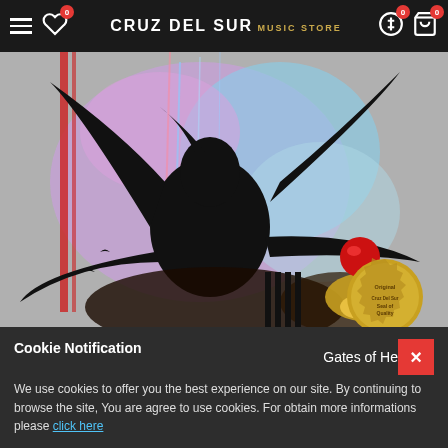Cruz Del Sur Music Store — navigation bar with hamburger menu, wishlist (0), logo, account, cart (0)
[Figure (illustration): Album artwork showing a dark fantasy illustration with a large winged creature silhouette in black against a colorful background of purples, blues and pinks with sparkle effects. A red gem and a gold 'Original Seal of Quality' badge are visible in the lower right.]
[Figure (other): Social sharing buttons row: Facebook, Twitter, Pinterest, Email, Plus]
Cookie Notification
We use cookies to offer you the best experience on our site. By continuing to browse the site, You are agree to use cookies. For obtain more informations please click here